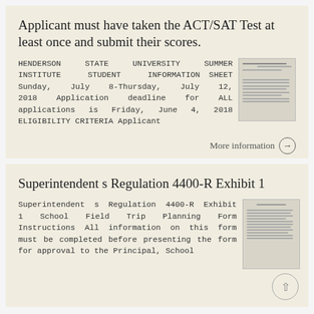Applicant must have taken the ACT/SAT Test at least once and submit their scores.
HENDERSON STATE UNIVERSITY SUMMER INSTITUTE STUDENT INFORMATION SHEET Sunday, July 8-Thursday, July 12, 2018 Application deadline for ALL applications is Friday, June 4, 2018 ELIGIBILITY CRITERIA Applicant
More information →
Superintendent s Regulation 4400-R Exhibit 1
Superintendent s Regulation 4400-R Exhibit 1 School Field Trip Planning Form Instructions All information on this form must be completed before presenting the form for approval to the Principal, School